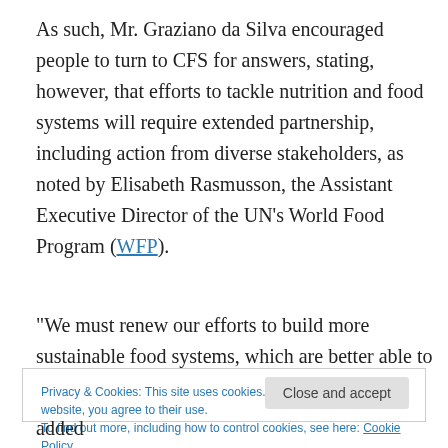As such, Mr. Graziano da Silva encouraged people to turn to CFS for answers, stating, however, that efforts to tackle nutrition and food systems will require extended partnership, including action from diverse stakeholders, as noted by Elisabeth Rasmusson, the Assistant Executive Director of the UN's World Food Program (WFP).
“We must renew our efforts to build more sustainable food systems, which are better able to
Privacy & Cookies: This site uses cookies. By continuing to use this website, you agree to their use.
To find out more, including how to control cookies, see here: Cookie Policy
added